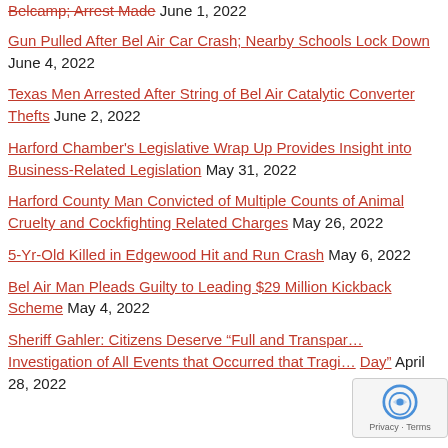Belcamp; Arrest Made June 1, 2022
Gun Pulled After Bel Air Car Crash; Nearby Schools Lock Down June 4, 2022
Texas Men Arrested After String of Bel Air Catalytic Converter Thefts June 2, 2022
Harford Chamber's Legislative Wrap Up Provides Insight into Business-Related Legislation May 31, 2022
Harford County Man Convicted of Multiple Counts of Animal Cruelty and Cockfighting Related Charges May 26, 2022
5-Yr-Old Killed in Edgewood Hit and Run Crash May 6, 2022
Bel Air Man Pleads Guilty to Leading $29 Million Kickback Scheme May 4, 2022
Sheriff Gahler: Citizens Deserve “Full and Transparent Investigation of All Events that Occurred that Tragic Day” April 28, 2022